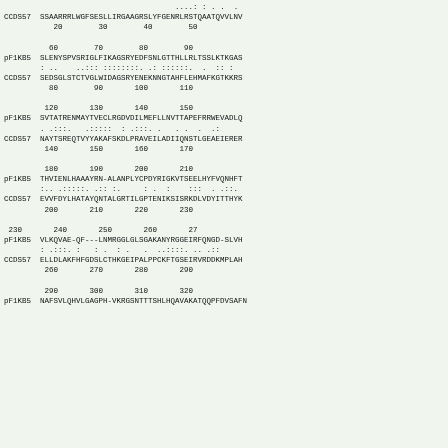[Figure (other): Protein sequence alignment between pF1KB5 and CCDS57, showing multiple alignment blocks with position numbers, sequence letters, and conservation symbols (dots, colons).]